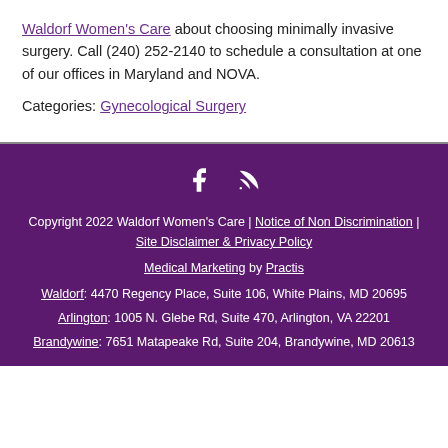Waldorf Women's Care about choosing minimally invasive surgery. Call (240) 252-2140 to schedule a consultation at one of our offices in Maryland and NOVA.
Categories: Gynecological Surgery
Copyright 2022 Waldorf Women's Care | Notice of Non Discrimination | Site Disclaimer & Privacy Policy
Medical Marketing by Practis
Waldorf: 4470 Regency Place, Suite 106, White Plains, MD 20695
Arlington: 1005 N. Glebe Rd, Suite 470, Arlington, VA 22201
Brandywine: 7651 Matapeake Rd, Suite 204, Brandywine, MD 20613